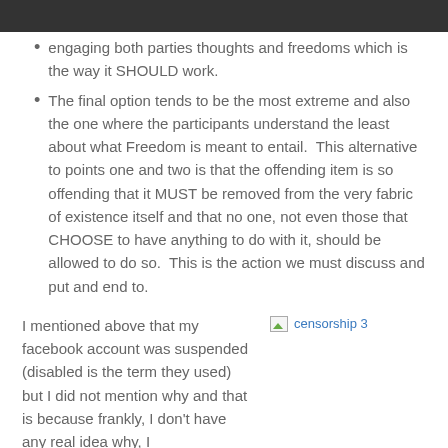engaging both parties thoughts and freedoms which is the way it SHOULD work.
The final option tends to be the most extreme and also the one where the participants understand the least about what Freedom is meant to entail.  This alternative to points one and two is that the offending item is so offending that it MUST be removed from the very fabric of existence itself and that no one, not even those that CHOOSE to have anything to do with it, should be allowed to do so.  This is the action we must discuss and put and end to.
I mentioned above that my facebook account was suspended (disabled is the term they used) but I did not mention why and that is because frankly, I don't have any real idea why, I
[Figure (other): Broken image placeholder labeled 'censorship 3']